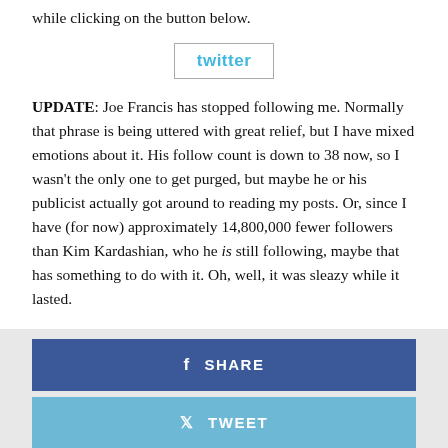while clicking on the button below.
[Figure (screenshot): Twitter button with blue text 'twitter' and gray border]
UPDATE: Joe Francis has stopped following me. Normally that phrase is being uttered with great relief, but I have mixed emotions about it. His follow count is down to 38 now, so I wasn't the only one to get purged, but maybe he or his publicist actually got around to reading my posts. Or, since I have (for now) approximately 14,800,000 fewer followers than Kim Kardashian, who he is still following, maybe that has something to do with it. Oh, well, it was sleazy while it lasted.
[Figure (screenshot): Facebook Share button (dark blue) and Twitter Tweet button (light blue)]